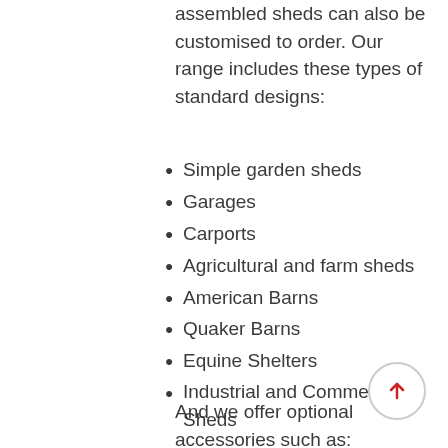assembled sheds can also be customised to order. Our range includes these types of standard designs:
Simple garden sheds
Garages
Carports
Agricultural and farm sheds
American Barns
Quaker Barns
Equine Shelters
Industrial and Commercial Sheds
And we offer optional accessories such as: